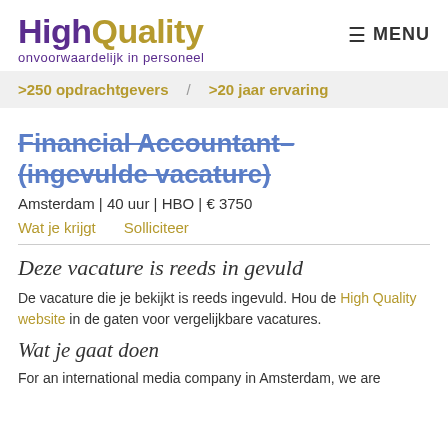HighQuality — onvoorwaardelijk in personeel | MENU
>250 opdrachtgevers / >20 jaar ervaring
Financial Accountant– (ingevulde vacature)
Amsterdam | 40 uur | HBO | € 3750
Wat je krijgt    Solliciteer
Deze vacature is reeds in gevuld
De vacature die je bekijkt is reeds ingevuld. Hou de High Quality website in de gaten voor vergelijkbare vacatures.
Wat je gaat doen
For an international media company in Amsterdam, we are